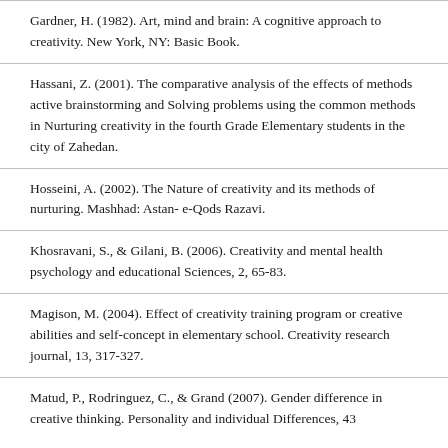Gardner, H. (1982). Art, mind and brain: A cognitive approach to creativity. New York, NY: Basic Book.
Hassani, Z. (2001). The comparative analysis of the effects of methods active brainstorming and Solving problems using the common methods in Nurturing creativity in the fourth Grade Elementary students in the city of Zahedan.
Hosseini, A. (2002). The Nature of creativity and its methods of nurturing. Mashhad: Astan- e-Qods Razavi.
Khosravani, S., & Gilani, B. (2006). Creativity and mental health psychology and educational Sciences, 2, 65-83.
Magison, M. (2004). Effect of creativity training program or creative abilities and self-concept in elementary school. Creativity research journal, 13, 317-327.
Matud, P., Rodringuez, C., & Grand (2007). Gender difference in creative thinking. Personality and individual Differences, 43…